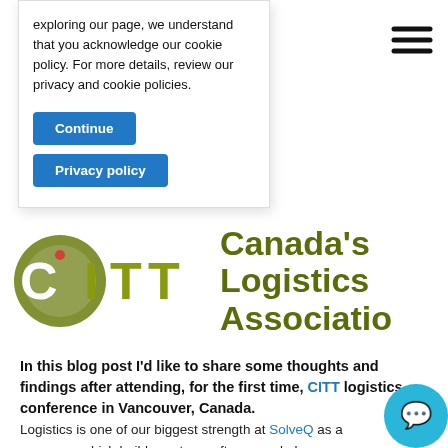exploring our page, we understand that you acknowledge our cookie policy. For more details, review our privacy and cookie policies.
Continue
Privacy policy
[Figure (logo): CITT — Canada's Logistics Association logo with green circle/letters on left and green bold text on right]
In this blog post I'd like to share some thoughts and findings after attending, for the first time, CITT logistics conference in Vancouver, Canada.
Logistics is one of our biggest strength at SolveQ as a company, which builds custom software and also are strategically expanding into Canada and the US. we decided, together with Monika Kupczak Ainslie,